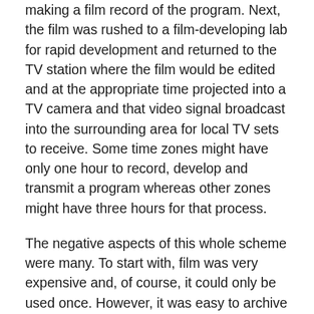making a film record of the program. Next, the film was rushed to a film-developing lab for rapid development and returned to the TV station where the film would be edited and at the appropriate time projected into a TV camera and that video signal broadcast into the surrounding area for local TV sets to receive. Some time zones might have only one hour to record, develop and transmit a program whereas other zones might have three hours for that process.
The negative aspects of this whole scheme were many. To start with, film was very expensive and, of course, it could only be used once. However, it was easy to archive for future needs. Another major drawback was the quality was very poor. For higher quality, 35 mm film was used but for most programs used16mm film. Sometimes a recording was made of a live performance and the developed film mailed to the station that was going to broadcast it. This made for better quality (especially when color broadcasting became available), however, again, this was very